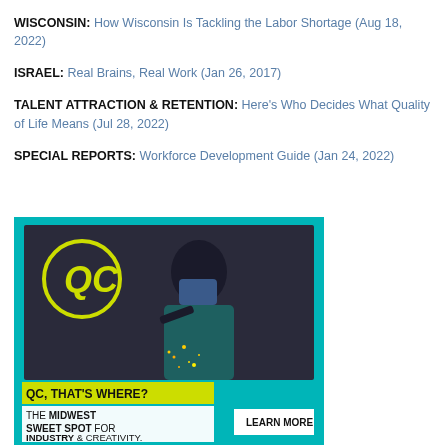WISCONSIN: How Wisconsin Is Tackling the Labor Shortage (Aug 18, 2022)
ISRAEL: Real Brains, Real Work (Jan 26, 2017)
TALENT ATTRACTION & RETENTION: Here's Who Decides What Quality of Life Means (Jul 28, 2022)
SPECIAL REPORTS: Workforce Development Guide (Jan 24, 2022)
[Figure (illustration): Advertisement for QC (Quad Cities) region. Teal/cyan background with a welder working in the center. Yellow circle logo with 'QC' text in top left. Text overlay reads: 'QC, THAT'S WHERE? THE MIDWEST SWEET SPOT FOR INDUSTRY & CREATIVITY.' with a 'LEARN MORE' button.]